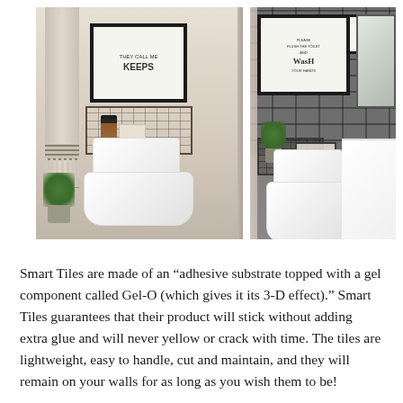[Figure (photo): Two side-by-side bathroom photos. Left photo shows a light beige bathroom with a striped towel hanging, a wall-mounted wire basket with soap and items, a white toilet, a small plant, and a framed art print above. Right photo shows a bathroom with dark gray subway tile backsplash, a large framed 'Please Flush the Toilet and Wash Your Hands' sign, a smaller framed print, a mirror, wire baskets on the toilet tank, a white toilet, and a white vanity.]
Smart Tiles are made of an “adhesive substrate topped with a gel component called Gel-O (which gives it its 3-D effect).” Smart Tiles guarantees that their product will stick without adding extra glue and will never yellow or crack with time. The tiles are lightweight, easy to handle, cut and maintain, and they will remain on your walls for as long as you wish them to be!